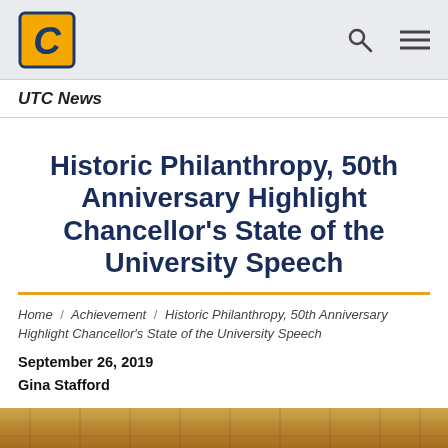UTC News — Navigation bar with UTC logo, search icon, and menu icon
UTC News
Historic Philanthropy, 50th Anniversary Highlight Chancellor's State of the University Speech
Home / Achievement / Historic Philanthropy, 50th Anniversary Highlight Chancellor's State of the University Speech
September 26, 2019
Gina Stafford
[Figure (photo): Partial photo of a person at what appears to be a wood-paneled setting, cropped at the bottom of the page.]